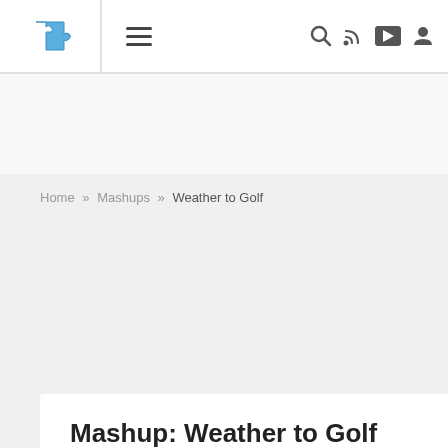Navigation bar with puzzle logo, menu icon, search, RSS, share, and user icons
Home » Mashups » Weather to Golf
Mashup: Weather to Golf
Sports
Weather
Messaging
Tools
Humor
Weather To Golf helps golfers get on the course by letting them know when conditions are ideal. This is done by constantly checking weather forecasts in the